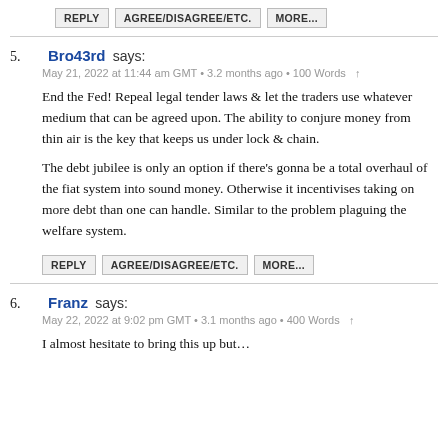REPLY   AGREE/DISAGREE/ETC.   MORE...
5. Bro43rd says:
May 21, 2022 at 11:44 am GMT • 3.2 months ago • 100 Words ↑

End the Fed! Repeal legal tender laws & let the traders use whatever medium that can be agreed upon. The ability to conjure money from thin air is the key that keeps us under lock & chain.

The debt jubilee is only an option if there's gonna be a total overhaul of the fiat system into sound money. Otherwise it incentivises taking on more debt than one can handle. Similar to the problem plaguing the welfare system.
REPLY   AGREE/DISAGREE/ETC.   MORE...
6. Franz says:
May 22, 2022 at 9:02 pm GMT • 3.1 months ago • 400 Words ↑

I almost hesitate to bring this up but…